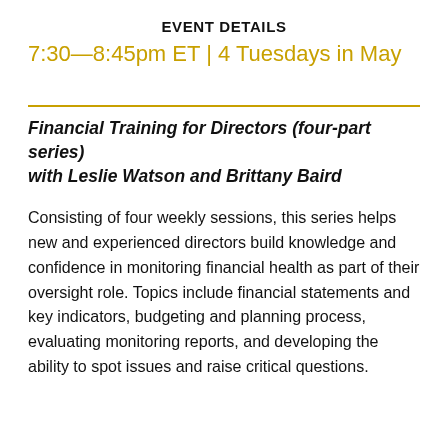EVENT DETAILS
7:30—8:45pm ET | 4 Tuesdays in May
Financial Training for Directors (four-part series) with Leslie Watson and Brittany Baird
Consisting of four weekly sessions, this series helps new and experienced directors build knowledge and confidence in monitoring financial health as part of their oversight role. Topics include financial statements and key indicators, budgeting and planning process, evaluating monitoring reports, and developing the ability to spot issues and raise critical questions.